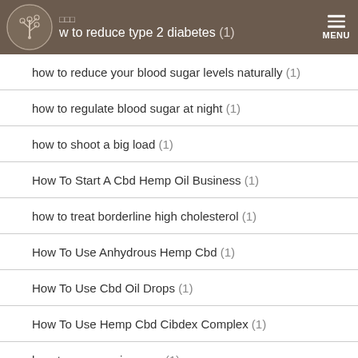how to reduce type 2 diabetes (1)
how to reduce your blood sugar levels naturally (1)
how to regulate blood sugar at night (1)
how to shoot a big load (1)
How To Start A Cbd Hemp Oil Business (1)
how to treat borderline high cholesterol (1)
How To Use Anhydrous Hemp Cbd (1)
How To Use Cbd Oil Drops (1)
How To Use Hemp Cbd Cibdex Complex (1)
how to use pennis pump (1)